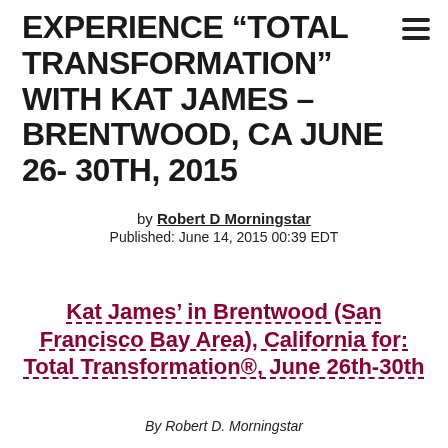EXPERIENCE “TOTAL TRANSFORMATION” WITH KAT JAMES – BRENTWOOD, CA JUNE 26- 30TH, 2015
by Robert D Morningstar
Published: June 14, 2015 00:39 EDT
Kat James’ in Brentwood (San Francisco Bay Area), California for: Total Transformation®, June 26th-30th
By Robert D. Morningstar